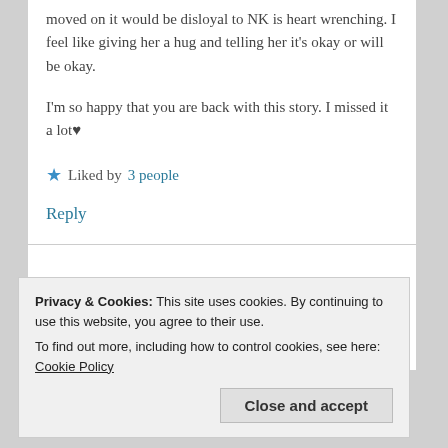moved on it would be disloyal to NK is heart wrenching. I feel like giving her a hug and telling her it's okay or will be okay.
I'm so happy that you are back with this story. I missed it a lot♥
★ Liked by 3 people
Reply
Privacy & Cookies: This site uses cookies. By continuing to use this website, you agree to their use.
To find out more, including how to control cookies, see here: Cookie Policy
Close and accept